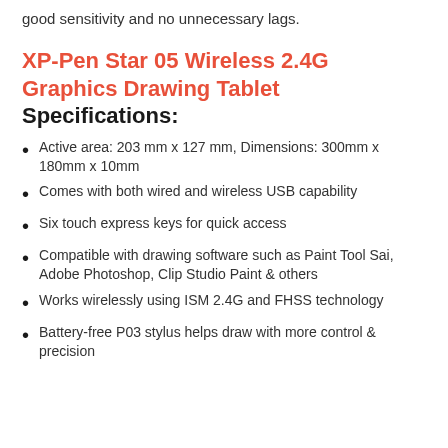good sensitivity and no unnecessary lags.
XP-Pen Star 05 Wireless 2.4G Graphics Drawing Tablet Specifications:
Active area: 203 mm x 127 mm, Dimensions: 300mm x 180mm x 10mm
Comes with both wired and wireless USB capability
Six touch express keys for quick access
Compatible with drawing software such as Paint Tool Sai, Adobe Photoshop, Clip Studio Paint & others
Works wirelessly using ISM 2.4G and FHSS technology
Battery-free P03 stylus helps draw with more control & precision